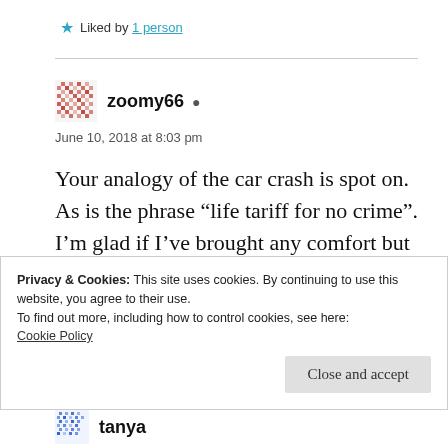Liked by 1 person
zoomy66
June 10, 2018 at 8:03 pm
Your analogy of the car crash is spot on. As is the phrase “life tariff for no crime”. I’m glad if I’ve brought any comfort but your words count too, and have really spoken to
Privacy & Cookies: This site uses cookies. By continuing to use this website, you agree to their use.
To find out more, including how to control cookies, see here:
Cookie Policy
Close and accept
tanya